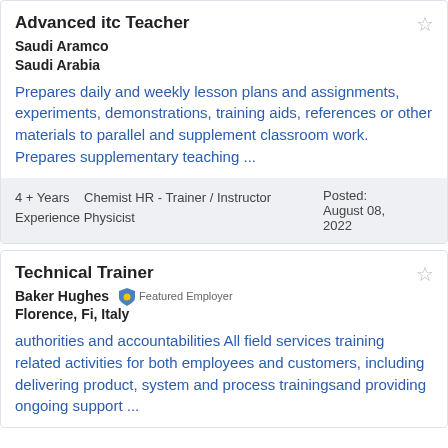Advanced itc Teacher
Saudi Aramco
Saudi Arabia
Prepares daily and weekly lesson plans and assignments, experiments, demonstrations, training aids, references or other materials to parallel and supplement classroom work. Prepares supplementary teaching ...
4 + Years   Chemist HR - Trainer / Instructor Experience Physicist
Posted: August 08, 2022
Technical Trainer
Baker Hughes Featured Employer
Florence, Fi, Italy
authorities and accountabilities All field services training related activities for both employees and customers, including delivering product, system and process trainingsand providing ongoing support ...